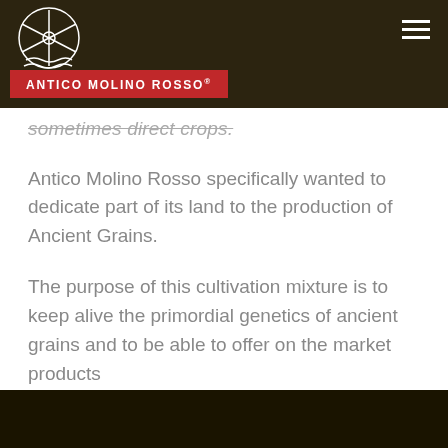ANTICO MOLINO ROSSO
sometimes direct crops.
Antico Molino Rosso specifically wanted to dedicate part of its land to the production of Ancient Grains.
The purpose of this cultivation mixture is to keep alive the primordial genetics of ancient grains and to be able to offer on the market products